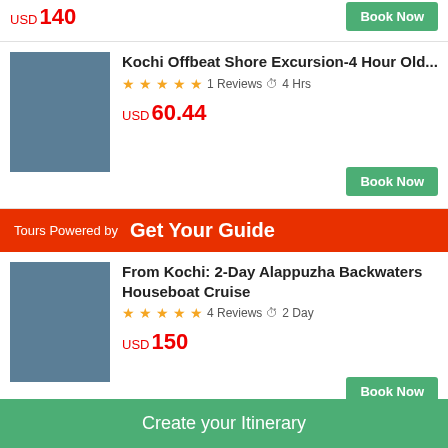[Figure (photo): Partial card with image placeholder and price USD 140, Book Now button]
USD 140
[Figure (photo): Tour listing image placeholder for Kochi Offbeat Shore Excursion]
Kochi Offbeat Shore Excursion-4 Hour Old...
★★★★★ 1 Reviews ⏱ 4 Hrs
USD 60.44
Book Now
Tours Powered by Get Your Guide
[Figure (photo): Tour listing image placeholder for Alappuzha Backwaters Houseboat Cruise]
From Kochi: 2-Day Alappuzha Backwaters Houseboat Cruise
★★★★½ 4 Reviews ⏱ 2 Day
USD 150
Book Now
[Figure (photo): Tour listing image placeholder for Cochin Alleppey Backwater Private Day Cruise]
Cochin: Alleppey Backwater Private Day C...
★★★★★ ⏱ 6 Hour
Create your Itinerary